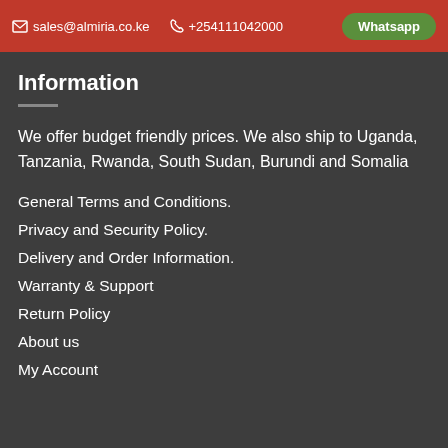✉ sales@almiria.co.ke  📞 +254111042000  Whatsapp
Information
We offer budget friendly prices. We also ship to Uganda, Tanzania, Rwanda, South Sudan, Burundi and Somalia
General Terms and Conditions.
Privacy and Security Policy.
Delivery and Order Information.
Warranty & Support
Return Policy
About us
My Account